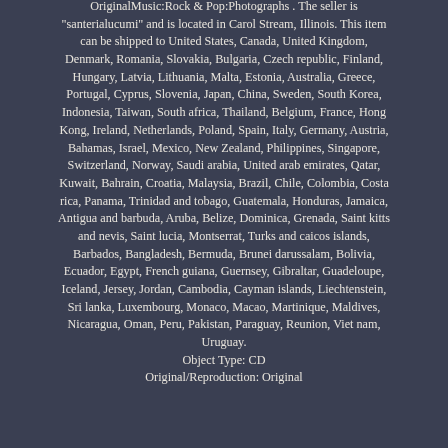OriginalMusic:Rock & Pop:Photographs . The seller is "santerialucumi" and is located in Carol Stream, Illinois. This item can be shipped to United States, Canada, United Kingdom, Denmark, Romania, Slovakia, Bulgaria, Czech republic, Finland, Hungary, Latvia, Lithuania, Malta, Estonia, Australia, Greece, Portugal, Cyprus, Slovenia, Japan, China, Sweden, South Korea, Indonesia, Taiwan, South africa, Thailand, Belgium, France, Hong Kong, Ireland, Netherlands, Poland, Spain, Italy, Germany, Austria, Bahamas, Israel, Mexico, New Zealand, Philippines, Singapore, Switzerland, Norway, Saudi arabia, United arab emirates, Qatar, Kuwait, Bahrain, Croatia, Malaysia, Brazil, Chile, Colombia, Costa rica, Panama, Trinidad and tobago, Guatemala, Honduras, Jamaica, Antigua and barbuda, Aruba, Belize, Dominica, Grenada, Saint kitts and nevis, Saint lucia, Montserrat, Turks and caicos islands, Barbados, Bangladesh, Bermuda, Brunei darussalam, Bolivia, Ecuador, Egypt, French guiana, Guernsey, Gibraltar, Guadeloupe, Iceland, Jersey, Jordan, Cambodia, Cayman islands, Liechtenstein, Sri lanka, Luxembourg, Monaco, Macao, Martinique, Maldives, Nicaragua, Oman, Peru, Pakistan, Paraguay, Reunion, Viet nam, Uruguay. Object Type: CD
Original/Reproduction: Original